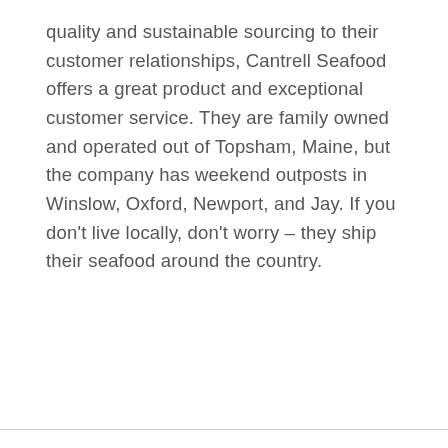quality and sustainable sourcing to their customer relationships, Cantrell Seafood offers a great product and exceptional customer service. They are family owned and operated out of Topsham, Maine, but the company has weekend outposts in Winslow, Oxford, Newport, and Jay. If you don’t live locally, don’t worry – they ship their seafood around the country.